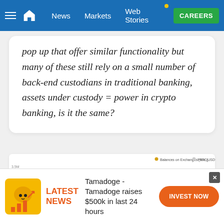News | Markets | Web Stories | CAREERS
pop up that offer similar functionality but many of these still rely on a small number of back-end custodians in traditional banking, assets under custody = power in crypto banking, is it the same?
[Figure (continuous-plot): Line chart showing Balances on Exchanges (BTC) in orange and Price (USD) in light gray over time. The orange line starts high around 3.0M, stays elevated then drops sharply mid-chart. The gray price line starts lower, dips to a spike downward then rises toward the right end near $60k.]
Tamadoge - Tamadoge raises $500k in last 24 hours
LATEST NEWS
INVEST NOW